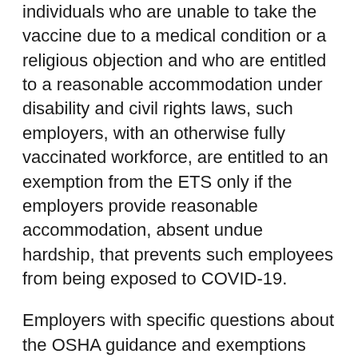individuals who are unable to take the vaccine due to a medical condition or a religious objection and who are entitled to a reasonable accommodation under disability and civil rights laws, such employers, with an otherwise fully vaccinated workforce, are entitled to an exemption from the ETS only if the employers provide reasonable accommodation, absent undue hardship, that prevents such employees from being exposed to COVID-19.
Employers with specific questions about the OSHA guidance and exemptions from the ETS are encouraged to contact their legal counsel. For additional information, contact, Erik Eisenmann, Brian Hendrix, or your Husch Blackwell attorney.
Tracey Oakes O’Brien, Legal Content and Knowledge Manager, is the author of this content.